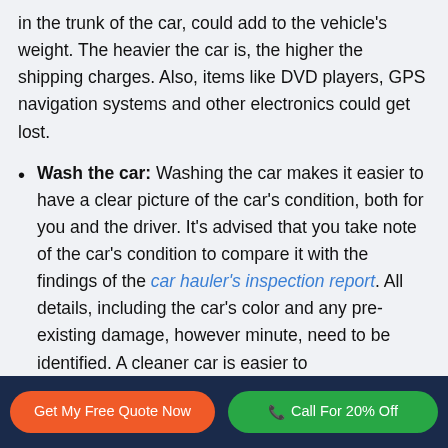in the trunk of the car, could add to the vehicle's weight. The heavier the car is, the higher the shipping charges. Also, items like DVD players, GPS navigation systems and other electronics could get lost.
Wash the car: Washing the car makes it easier to have a clear picture of the car's condition, both for you and the driver. It's advised that you take note of the car's condition to compare it with the findings of the car hauler's inspection report. All details, including the car's color and any pre-existing damage, however minute, need to be identified. A cleaner car is easier to
Get My Free Quote Now | Call For 20% Off